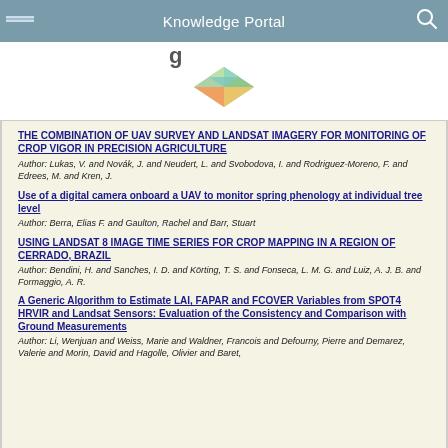Knowledge Portal
[Figure (logo): Colorful geometric diamond/prism logo with triangular facets in green, yellow, orange, teal colors, with partial text above]
THE COMBINATION OF UAV SURVEY AND LANDSAT IMAGERY FOR MONITORING OF CROP VIGOR IN PRECISION AGRICULTURE
Author: Lukas, V. and Novák, J. and Neudert, L. and Svobodova, I. and Rodriguez-Moreno, F. and Edrees, M. and Kren, J.
Use of a digital camera onboard a UAV to monitor spring phenology at individual tree level
Author: Berra, Elias F. and Gaulton, Rachel and Barr, Stuart
USING LANDSAT 8 IMAGE TIME SERIES FOR CROP MAPPING IN A REGION OF CERRADO, BRAZIL
Author: Bendini, H. and Sanches, I. D. and Körting, T. S. and Fonseca, L. M. G. and Luiz, A. J. B. and Formaggio, A. R.
A Generic Algorithm to Estimate LAI, FAPAR and FCOVER Variables from SPOT4 HRVIR and Landsat Sensors: Evaluation of the Consistency and Comparison with Ground Measurements
Author: Li, Wenjuan and Weiss, Marie and Waldner, Francois and Defourny, Pierre and Demarez, Valerie and Morin, David and Hagolle, Olivier and Baret,